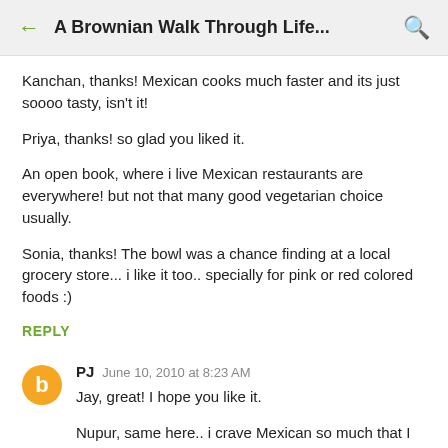← A Brownian Walk Through Life... 🔍
Kanchan, thanks! Mexican cooks much faster and its just soooo tasty, isn't it!
Priya, thanks! so glad you liked it.
An open book, where i live Mexican restaurants are everywhere! but not that many good vegetarian choice usually.
Sonia, thanks! The bowl was a chance finding at a local grocery store... i like it too.. specially for pink or red colored foods :)
REPLY
PJ  June 10, 2010 at 8:23 AM
Jay, great! I hope you like it.
Nupur, same here.. i crave Mexican so much that I finally just decided to learn to make it